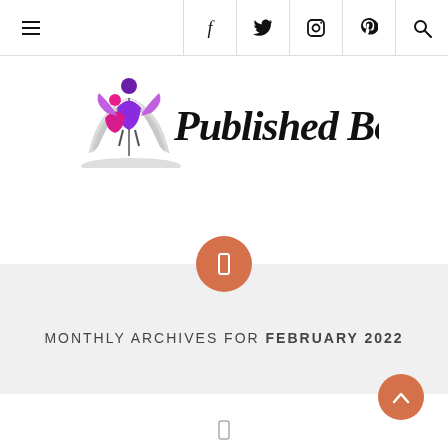Navigation bar with hamburger menu and social icons: f (Facebook), Twitter, Instagram, Pinterest, Search
[Figure (logo): Published Book logo with colorful figures holding an open book, and 'Published Book' in script font]
MONTHLY ARCHIVES FOR FEBRUARY 2022